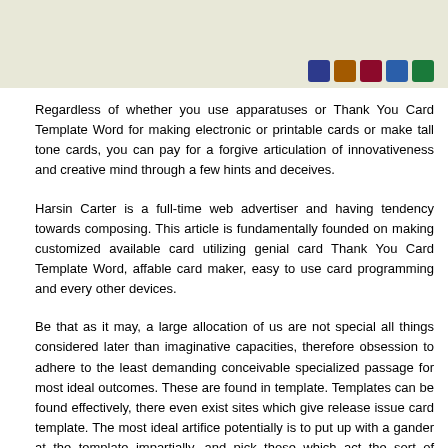[Figure (other): Top banner area with light olive/tan background and five colored application icons (Photoshop blue, Illustrator orange-brown, InDesign red, Word blue, green) aligned to the right side]
Regardless of whether you use apparatuses or Thank You Card Template Word for making electronic or printable cards or make tall tone cards, you can pay for a forgive articulation of innovativeness and creative mind through a few hints and deceives.
Harsin Carter is a full-time web advertiser and having tendency towards composing. This article is fundamentally founded on making customized available card utilizing genial card Thank You Card Template Word, affable card maker, easy to use card programming and every other devices.
Be that as it may, a large allocation of us are not special all things considered later than imaginative capacities, therefore obsession to adhere to the least demanding conceivable specialized passage for most ideal outcomes. These are found in template. Templates can be found effectively, there even exist sites which give release issue card template. The most ideal artifice potentially is to put up with a gander at the template impartially, and pick those which act the sort of describe one would dependence to depict to one's customers, and not essentially what advances to one self most. Notwithstanding, one should likewise